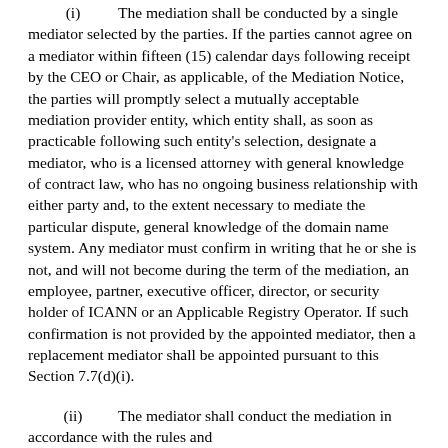(i) The mediation shall be conducted by a single mediator selected by the parties. If the parties cannot agree on a mediator within fifteen (15) calendar days following receipt by the CEO or Chair, as applicable, of the Mediation Notice, the parties will promptly select a mutually acceptable mediation provider entity, which entity shall, as soon as practicable following such entity's selection, designate a mediator, who is a licensed attorney with general knowledge of contract law, who has no ongoing business relationship with either party and, to the extent necessary to mediate the particular dispute, general knowledge of the domain name system. Any mediator must confirm in writing that he or she is not, and will not become during the term of the mediation, an employee, partner, executive officer, director, or security holder of ICANN or an Applicable Registry Operator. If such confirmation is not provided by the appointed mediator, then a replacement mediator shall be appointed pursuant to this Section 7.7(d)(i).
(ii) The mediator shall conduct the mediation in accordance with the rules and